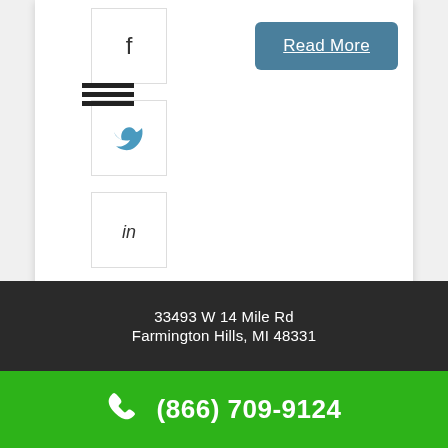[Figure (screenshot): Social media share buttons: Facebook, Twitter, LinkedIn, Pinterest icons in square bordered boxes]
[Figure (other): Read More button with teal/slate blue background and white underlined text]
33493 W 14 Mile Rd
Farmington Hills, MI 48331
(866) 709-9124